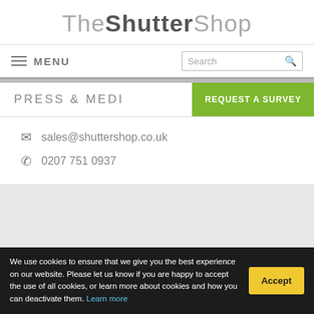The Shutter Shop
MENU
PRESS & MEDIA
REQUEST A SURVEY
sales@shuttershop.co.uk
0207 751 0937
ADD A COMMENT
We use cookies to ensure that we give you the best experience on our website. Please let us know if you are happy to accept the use of all cookies, or learn more about cookies and how you can deactivate them. Learn more